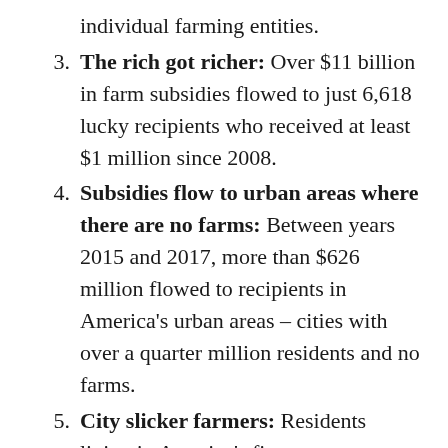individual farming entities.
The rich got richer: Over $11 billion in farm subsidies flowed to just 6,618 lucky recipients who received at least $1 million since 2008.
Subsidies flow to urban areas where there are no farms: Between years 2015 and 2017, more than $626 million flowed to recipients in America's urban areas – cities with over a quarter million residents and no farms.
City slicker farmers: Residents living in America's five most populated cities received $18